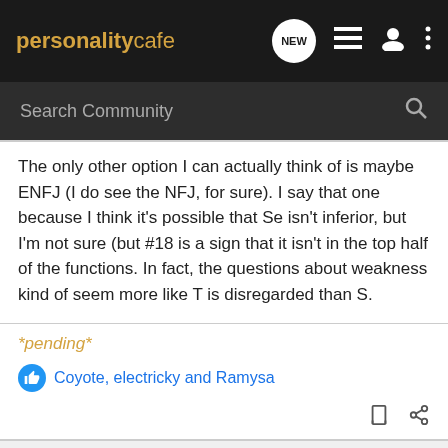personalitycafe — Search Community
The only other option I can actually think of is maybe ENFJ (I do see the NFJ, for sure). I say that one because I think it's possible that Se isn't inferior, but I'm not sure (but #18 is a sign that it isn't in the top half of the functions. In fact, the questions about weakness kind of seem more like T is disregarded than S.
*pending*
Coyote, electricky and Ramysa
1 4 of 4 Posts